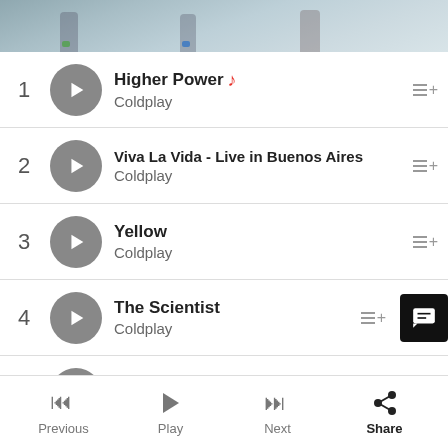[Figure (photo): Top banner showing blurry image of people running on a wet reflective surface, cropped at bottom]
1 Higher Power ♪ Coldplay
2 Viva La Vida - Live in Buenos Aires Coldplay
3 Yellow Coldplay
4 The Scientist Coldplay
5 Fix You Coldplay
6 Hymn for the Weekend Coldplay
Previous   Play   Next   Share